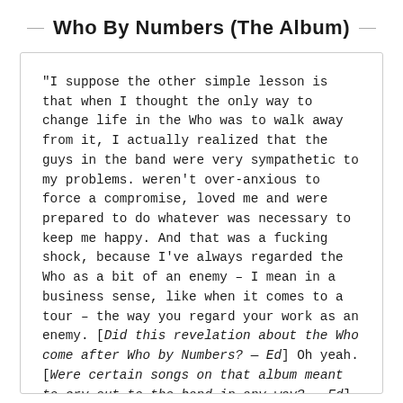Who By Numbers (The Album)
"I suppose the other simple lesson is that when I thought the only way to change life in the Who was to walk away from it, I actually realized that the guys in the band were very sympathetic to my problems. weren't over-anxious to force a compromise, loved me and were prepared to do whatever was necessary to keep me happy. And that was a fucking shock, because I've always regarded the Who as a bit of an enemy – I mean in a business sense, like when it comes to a tour – the way you regard your work as an enemy. [Did this revelation about the Who come after Who by Numbers? — Ed] Oh yeah. [Were certain songs on that album meant to cry out to the band in any way? — Ed] To some extent. I think it was just me whining about certain